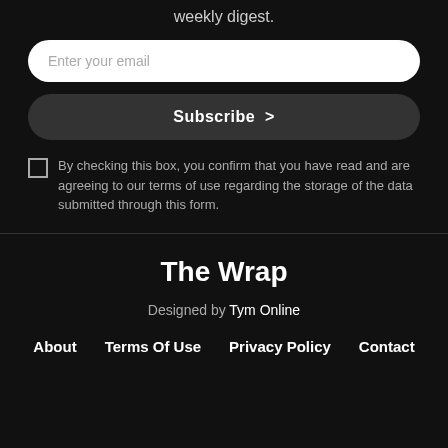weekly digest.
Enter your email
Subscribe >
By checking this box, you confirm that you have read and are agreeing to our terms of use regarding the storage of the data submitted through this form.
The Wrap
Designed by Tym Online
About   Terms Of Use   Privacy Policy   Contact